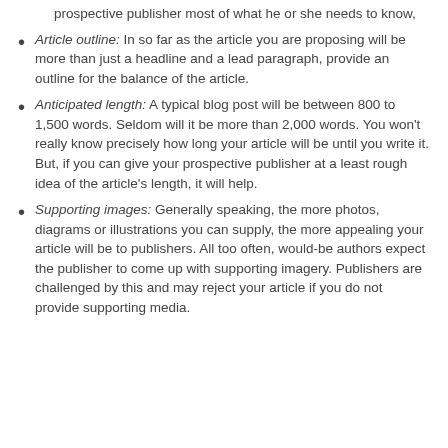prospective publisher most of what he or she needs to know,
Article outline: In so far as the article you are proposing will be more than just a headline and a lead paragraph, provide an outline for the balance of the article.
Anticipated length: A typical blog post will be between 800 to 1,500 words. Seldom will it be more than 2,000 words. You won't really know precisely how long your article will be until you write it. But, if you can give your prospective publisher at a least rough idea of the article's length, it will help.
Supporting images: Generally speaking, the more photos, diagrams or illustrations you can supply, the more appealing your article will be to publishers. All too often, would-be authors expect the publisher to come up with supporting imagery. Publishers are challenged by this and may reject your article if you do not provide supporting media.